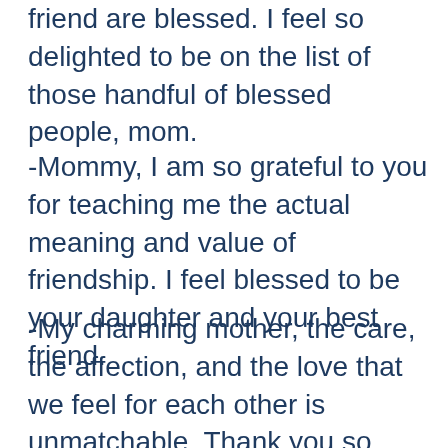friend are blessed. I feel so delighted to be on the list of those handful of blessed people, mom.
-Mommy, I am so grateful to you for teaching me the actual meaning and value of friendship. I feel blessed to be your daughter and your best friend.
-My charming mother, the care, the affection, and the love that we feel for each other is unmatchable. Thank you so much for understanding me not just as a mother but as a best friend too.
-My Momma, bear, as I have grown up, I